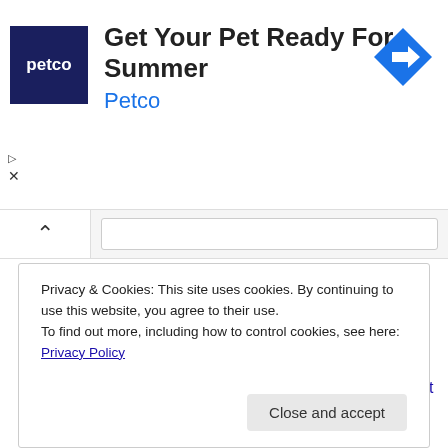[Figure (other): Petco advertisement banner with logo, headline 'Get Your Pet Ready For Summer', brand name 'Petco', and a blue diamond navigation arrow icon]
Flashing programs to STM32. Embedded Bootloader
Can vs LIN bus interfaces in automotive electronics
FreeRTOS tutorial on STM32
Five Reasons to Choose the Right Wealth Management Firms
AVR DDS signal generator V2.0
Privacy & Cookies: This site uses cookies. By continuing to use this website, you agree to their use.
To find out more, including how to control cookies, see here: Privacy Policy